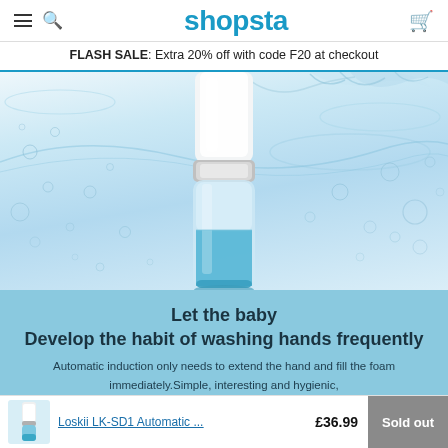shopsta
FLASH SALE: Extra 20% off with code F20 at checkout
[Figure (photo): Close-up product photo of a white and blue automatic soap dispenser with water splashes and bubbles on a light blue/white background]
Let the baby
Develop the habit of washing hands frequently

Automatic induction only needs to extend the hand and fill the foam immediately.Simple, interesting and hygienic,
Let the baby develop the good habit of washing hands frequently,
Healthy and vigorous growth.
Loskii LK-SD1 Automatic ...  £36.99  Sold out